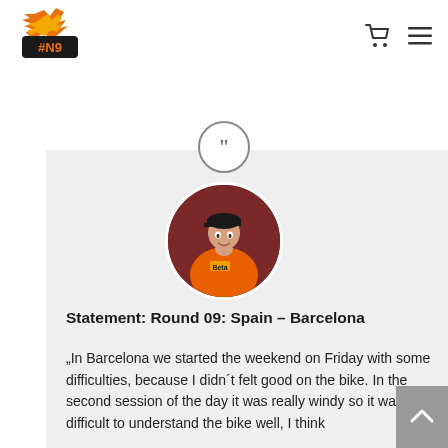[Figure (logo): HN9 motorsport logo with flame/bird graphic in orange and yellow]
[Figure (illustration): Shopping cart icon and hamburger menu icon in dark gray]
[Figure (photo): Circular quote icon with closing quotation marks inside a circle border]
[Figure (photo): Circular portrait photo of a motorcycle racer wearing an orange Beta racing suit and black cap, posed against a dark red background]
Statement: Round 09: Spain – Barcelona
„In Barcelona we started the weekend on Friday with some difficulties, because I didn´t felt good on the bike. In the second session of the day it was really windy so it was difficult to understand the bike well, I think